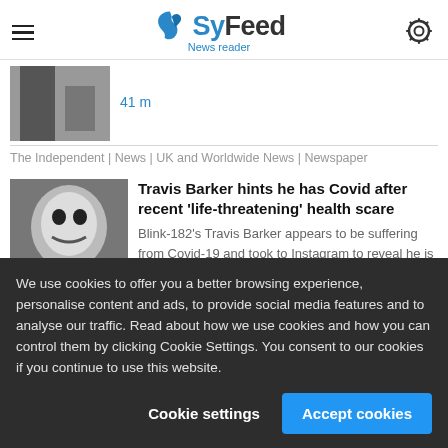SyFeed News reader
[Figure (photo): Partial thumbnail image of a person, cropped at top]
41 m
The Independent | News | UK and Worldwide News | Newspaper
[Figure (photo): Photo of Travis Barker making an expressive face]
Travis Barker hints he has Covid after recent 'life-threatening' health scare
Blink-182's Travis Barker appears to be suffering from Covid-19 and took to Instagram to reveal he is missing playing the drums
We use cookies to offer you a better browsing experience, personalise content and ads, to provide social media features and to analyse our traffic. Read about how we use cookies and how you can control them by clicking Cookie Settings. You consent to our cookies if you continue to use this website.
Cookie settings  Accept cookies